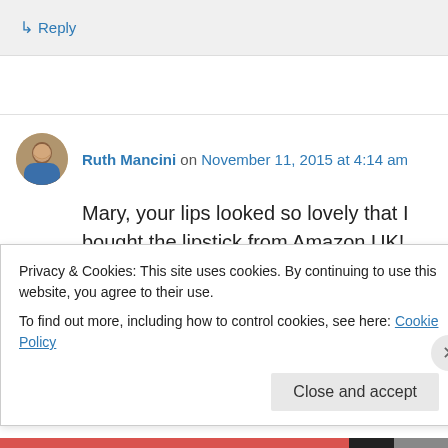↳ Reply
Ruth Mancini on November 11, 2015 at 4:14 am
Mary, your lips looked so lovely that I bought the lipstick from Amazon UK!
Liked by 1 person
Privacy & Cookies: This site uses cookies. By continuing to use this website, you agree to their use.
To find out more, including how to control cookies, see here: Cookie Policy
Close and accept